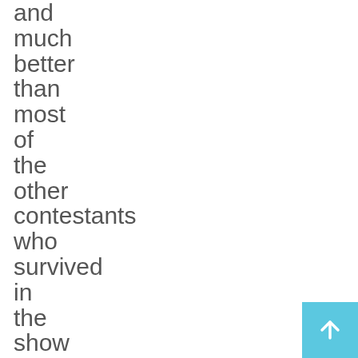and much better than most of the other contestants who survived in the show after him. His equation